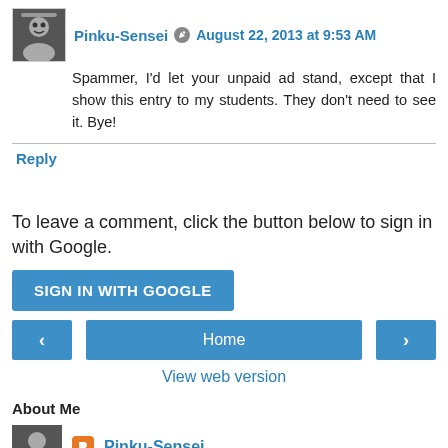Pinku-Sensei  August 22, 2013 at 9:53 AM
Spammer, I'd let your unpaid ad stand, except that I show this entry to my students. They don't need to see it. Bye!
Reply
To leave a comment, click the button below to sign in with Google.
SIGN IN WITH GOOGLE
Home
View web version
About Me
Pinku-Sensei